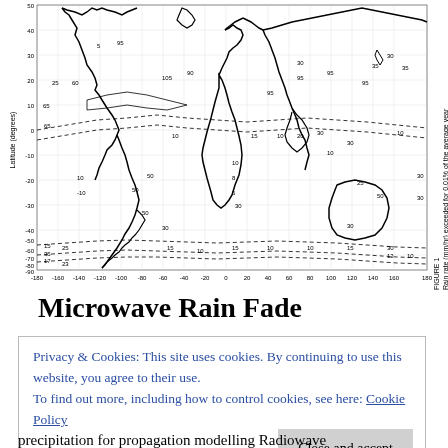[Figure (map): World map showing rain rate contours (mm/hr) exceeded for 0.01% of the average year, with latitude axis (-90 to 50 degrees) and longitude axis (-180 to 180 degrees). Contour lines show rain rate distributions globally.]
FIGURE 1
Rain rate (mm/hr) exceeded for 0.01% of the average year
Microwave Rain Fade
Privacy & Cookies: This site uses cookies. By continuing to use this website, you agree to their use.
To find out more, including how to control cookies, see here: Cookie Policy
precipitation for propagation modelling Radiowave